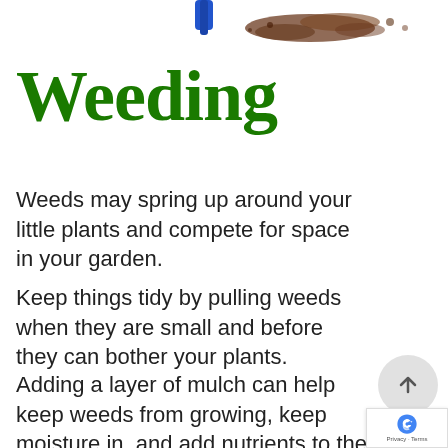[Figure (illustration): Top portion of an illustration showing a garden trowel or shovel with soil/mulch, partially visible at the top of the page]
Weeding
Weeds may spring up around your little plants and compete for space in your garden.
Keep things tidy by pulling weeds when they are small and before they can bother your plants.
Adding a layer of mulch can help keep weeds from growing, keep moisture in, and add nutrients to the soil.